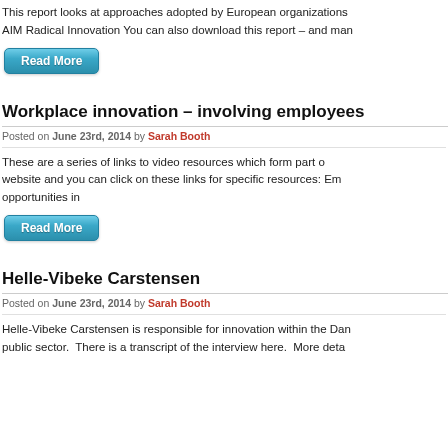This report looks at approaches adopted by European organizations AIM Radical Innovation You can also download this report – and man
Read More
Workplace innovation – involving employees
Posted on June 23rd, 2014 by Sarah Booth
These are a series of links to video resources which form part o website and you can click on these links for specific resources: Em opportunities in
Read More
Helle-Vibeke Carstensen
Posted on June 23rd, 2014 by Sarah Booth
Helle-Vibeke Carstensen is responsible for innovation within the Dan public sector. There is a transcript of the interview here. More deta